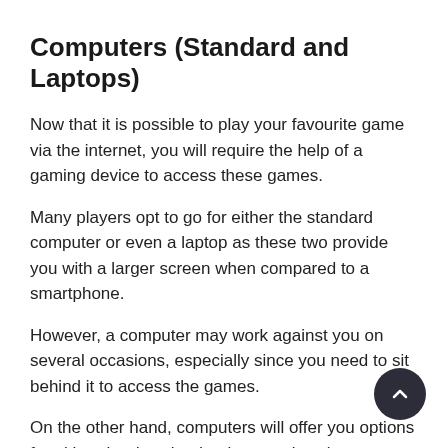Computers (Standard and Laptops)
Now that it is possible to play your favourite game via the internet, you will require the help of a gaming device to access these games.
Many players opt to go for either the standard computer or even a laptop as these two provide you with a larger screen when compared to a smartphone.
However, a computer may work against you on several occasions, especially since you need to sit behind it to access the games.
On the other hand, computers will offer you options for either the download or instant play sites. Actually, a computer has more options when you want to use the download casino as compared to using the